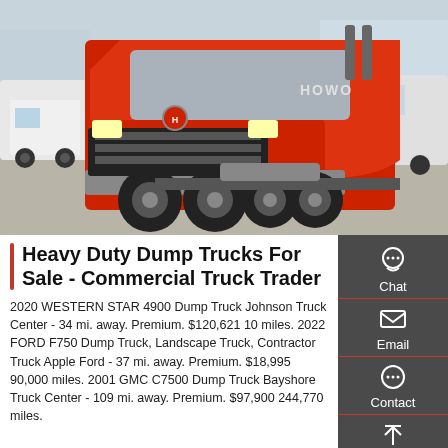[Figure (photo): A red HOWO heavy duty semi truck/tractor unit parked in a yard with other white trucks and construction equipment visible in the background.]
Heavy Duty Dump Trucks For Sale - Commercial Truck Trader
2020 WESTERN STAR 4900 Dump Truck Johnson Truck Center - 34 mi. away. Premium. $120,621 10 miles. 2022 FORD F750 Dump Truck, Landscape Truck, Contractor Truck Apple Ford - 37 mi. away. Premium. $18,995 90,000 miles. 2001 GMC C7500 Dump Truck Bayshore Truck Center - 109 mi. away. Premium. $97,900 244,770 miles.